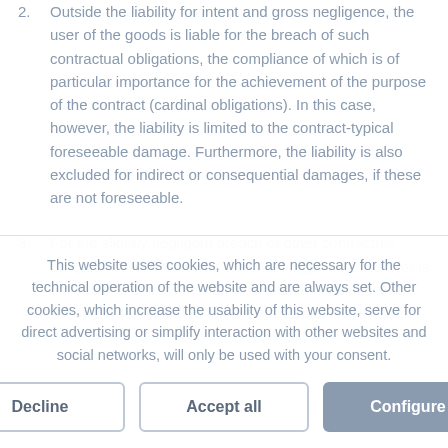Outside the liability for intent and gross negligence, the user of the goods is liable for the breach of such contractual obligations, the compliance of which is of particular importance for the achievement of the purpose of the contract (cardinal obligations). In this case, however, the liability is limited to the contract-typical foreseeable damage. Furthermore, the liability is also excluded for indirect or consequential damages, if these are not foreseeable.
For the slightly negligent breach of other contractual obligations, which are not cardinal obligations, the user is not liable to entrepreneurs. In this case, the liability to consumers is limited to the contract-typical foreseeable
This website uses cookies, which are necessary for the technical operation of the website and are always set. Other cookies, which increase the usability of this website, serve for direct advertising or simplify interaction with other websites and social networks, will only be used with your consent.